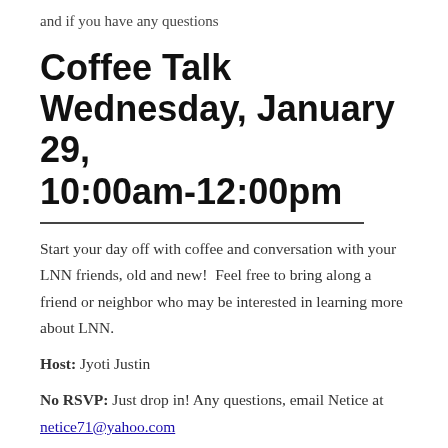and if you have any questions
Coffee Talk Wednesday, January 29, 10:00am-12:00pm
Start your day off with coffee and conversation with your LNN friends, old and new!  Feel free to bring along a friend or neighbor who may be interested in learning more about LNN.
Host: Jyoti Justin
No RSVP: Just drop in! Any questions, email Netice at netice71@yahoo.com
Men's Pub Night